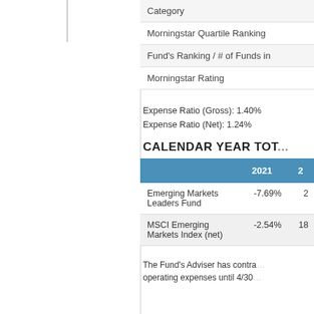| Category |
| --- |
| Morningstar Quartile Ranking |
| Fund's Ranking / # of Funds in |
| Morningstar Rating |
Expense Ratio (Gross): 1.40%
Expense Ratio (Net): 1.24%
CALENDAR YEAR TOT...
|  | 2021 | 2... |
| --- | --- | --- |
| Emerging Markets Leaders Fund | -7.69% | 2... |
| MSCI Emerging Markets Index (net) | -2.54% | 18... |
The Fund's Adviser has contracted to limit operating expenses until 4/30...